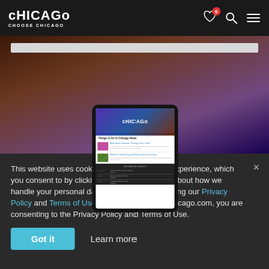CHICAGO — CHOOSE CHICAGO (navigation header with heart/search/menu icons)
[Figure (screenshot): Choose Chicago website screenshot showing a tablet device mockup with the Choose Chicago homepage displayed, including a hero image of Cloud Gate/Chicago skyline, Things to Do section with event listings, and Upcoming Events table]
This website uses cookies to ensure the best experience, which you consent to by clicking 'Got It.' Learn more about how we handle your personal data and rights by reviewing our Privacy Policy and Terms of Use. By visiting ChooseChicago.com, you are consenting to the Privacy Policy and Terms of Use.
Got it   Learn more